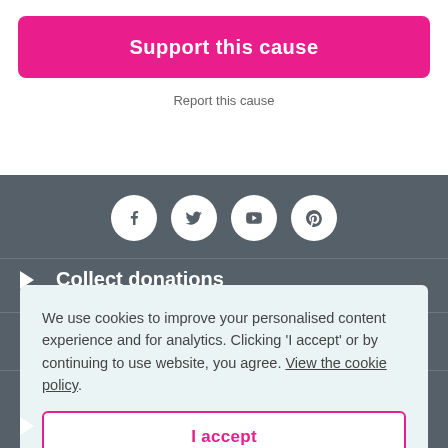Support this cause
Report this cause
[Figure (illustration): Social media icons row: Facebook, Twitter, YouTube, Pinterest — white circles on dark grey background]
Collect donations
Useful
We use cookies to improve your personalised content experience and for analytics. Clicking 'I accept' or by continuing to use website, you agree. View the cookie policy.
I accept
Get the apps